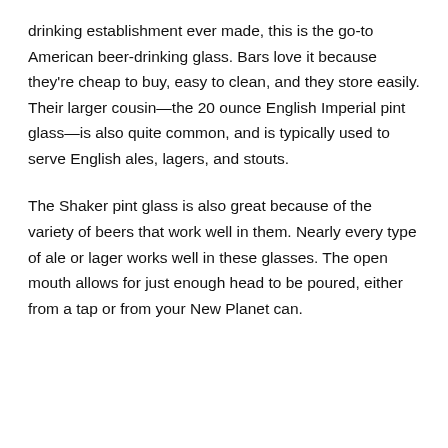drinking establishment ever made, this is the go-to American beer-drinking glass. Bars love it because they're cheap to buy, easy to clean, and they store easily. Their larger cousin—the 20 ounce English Imperial pint glass—is also quite common, and is typically used to serve English ales, lagers, and stouts.
The Shaker pint glass is also great because of the variety of beers that work well in them. Nearly every type of ale or lager works well in these glasses. The open mouth allows for just enough head to be poured, either from a tap or from your New Planet can.